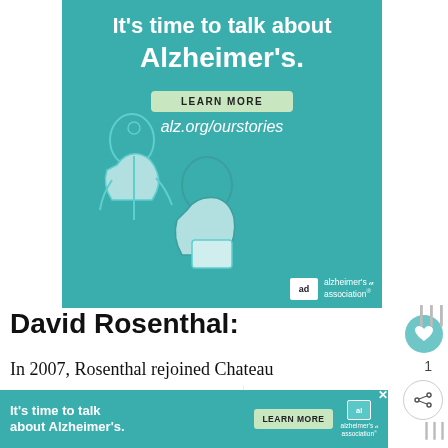[Figure (illustration): Alzheimer's Association advertisement banner with teal background, illustration of two people (older man and younger person), text 'It's time to talk about Alzheimer's.', a 'LEARN MORE' button, url 'alz.org/ourstories', and Alzheimer's Association logo.]
David Rosenthal:
In 2007, Rosenthal rejoined Chateau Ste. Michelle as white wine en… and was later promoted to assistant
[Figure (photo): What's Next thumbnail with photo of a person and text 'Holland America Ad...']
[Figure (illustration): Bottom Alzheimer's Association advertisement banner with teal background, text 'It's time to talk about Alzheimer's.', a 'LEARN MORE' button, and logo.]